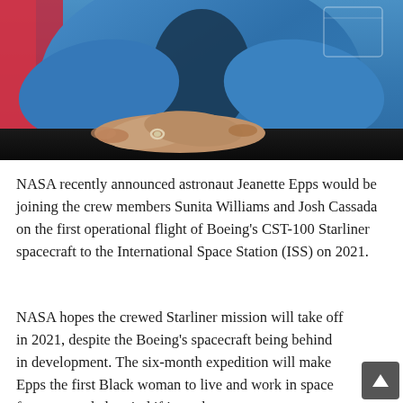[Figure (photo): Photo of astronaut Jeanette Epps in a blue flight suit with hands clasped on a dark surface, an American flag visible in the background]
NASA recently announced astronaut Jeanette Epps would be joining the crew members Sunita Williams and Josh Cassada on the first operational flight of Boeing's CST-100 Starliner spacecraft to the International Space Station (ISS) on 2021.
NASA hopes the crewed Starliner mission will take off in 2021, despite the Boeing's spacecraft being behind in development. The six-month expedition will make Epps the first Black woman to live and work in space for an extended period if it works out.